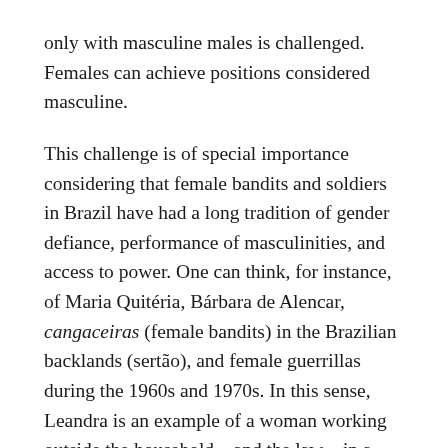only with masculine males is challenged. Females can achieve positions considered masculine.

This challenge is of special importance considering that female bandits and soldiers in Brazil have had a long tradition of gender defiance, performance of masculinities, and access to power. One can think, for instance, of Maria Quitéria, Bárbara de Alencar, cangaceiras (female bandits) in the Brazilian backlands (sertão), and female guerrillas during the 1960s and 1970s. In this sense, Leandra is an example of a woman working outside the household—and the law—in a traditionally masculine area. The difference is that she does not resort to cross-dressing. That is, she does not have to conceal her image, as many women did during